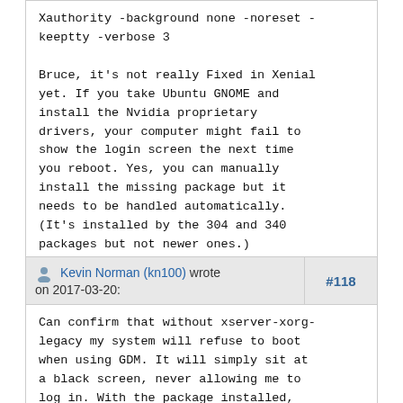Xauthority -background none -noreset -keeptty -verbose 3

Bruce, it's not really Fixed in Xenial yet. If you take Ubuntu GNOME and install the Nvidia proprietary drivers, your computer might fail to show the login screen the next time you reboot. Yes, you can manually install the missing package but it needs to be handled automatically. (It's installed by the 304 and 340 packages but not newer ones.)
Kevin Norman (kn100) wrote on 2017-03-20:
#118
Can confirm that without xserver-xorg-legacy my system will refuse to boot when using GDM. It will simply sit at a black screen, never allowing me to log in. With the package installed, GDM seems to work correctly.

Another interesting nugget of